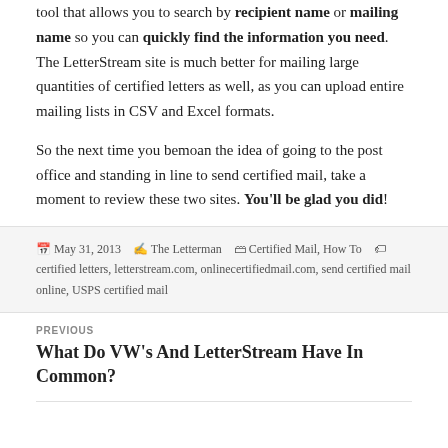tool that allows you to search by recipient name or mailing name so you can quickly find the information you need. The LetterStream site is much better for mailing large quantities of certified letters as well, as you can upload entire mailing lists in CSV and Excel formats.
So the next time you bemoan the idea of going to the post office and standing in line to send certified mail, take a moment to review these two sites. You'll be glad you did!
May 31, 2013 · The Letterman · Certified Mail, How To · certified letters, letterstream.com, onlinecertifiedmail.com, send certified mail online, USPS certified mail
PREVIOUS
What Do VW's And LetterStream Have In Common?